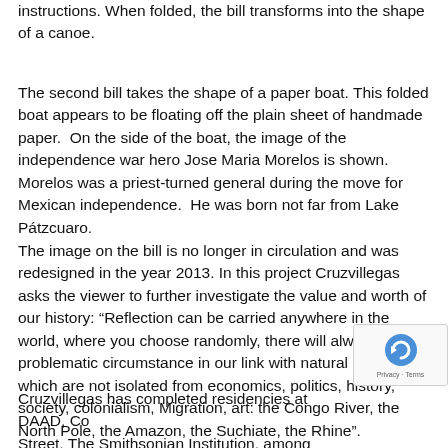instructions. When folded, the bill transforms into the shape of a canoe.
The second bill takes the shape of a paper boat. This folded boat appears to be floating off the plain sheet of handmade paper.  On the side of the boat, the image of the independence war hero Jose Maria Morelos is shown. Morelos was a priest-turned general during the move for Mexican independence.  He was born not far from Lake Pátzcuaro.
The image on the bill is no longer in circulation and was redesigned in the year 2013. In this project Cruzvillegas asks the viewer to further investigate the value and worth of our history: “Reflection can be carried anywhere in the world, where you choose randomly, there will always be a problematic circumstance in our link with natural resources, which are not isolated from economics, politics, history, society, colonialism, Migration, art: the Congo River, the North Pole, the Amazon, the Suchiate, the Rhine”.
Cruzvillegas has completed residencies at DAAD, Co Street, The Smithsonian Institution, among others. H artwork has been exhibited at museums and galleries